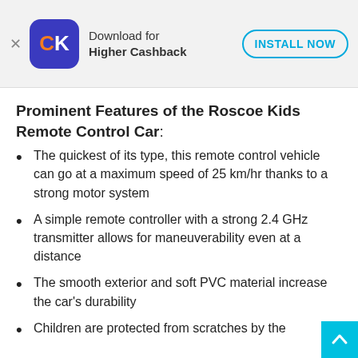[Figure (screenshot): App advertisement banner for CK app showing logo, 'Download for Higher Cashback' text, and 'INSTALL NOW' button]
Prominent Features of the Roscoe Kids Remote Control Car:
The quickest of its type, this remote control vehicle can go at a maximum speed of 25 km/hr thanks to a strong motor system
A simple remote controller with a strong 2.4 GHz transmitter allows for maneuverability even at a distance
The smooth exterior and soft PVC material increase the car's durability
Children are protected from scratches by the